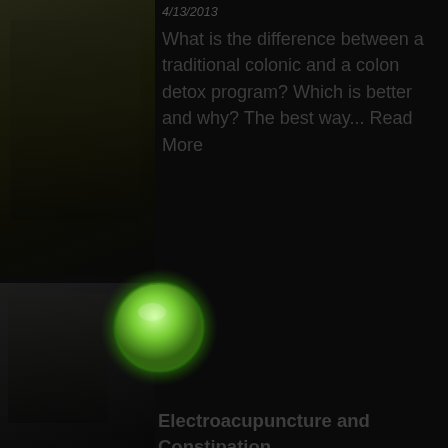[Figure (photo): Dark photograph of a person, upper portion, on dark background]
4/13/2013
What is the difference between a traditional colonic and a colon detox program? Which is better and why? The best way... Read More
[Figure (other): Glowing green circular button/indicator on dark background]
[Figure (photo): Dark photograph, lower portion, on dark background]
Electroacupuncture and Constipation
10/22/2015
Some news for those with severe constipation. New research suggests that acupuncture can bring